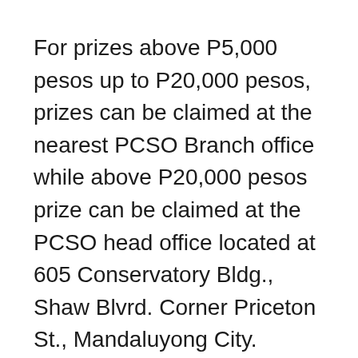For prizes above P5,000 pesos up to P20,000 pesos, prizes can be claimed at the nearest PCSO Branch office while above P20,000 pesos prize can be claimed at the PCSO head office located at 605 Conservatory Bldg., Shaw Blvrd. Corner Priceton St., Mandaluyong City.